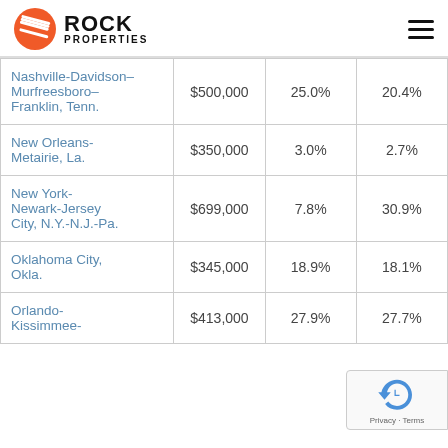Rock Properties
| Metro Area | Price | YoY Change | 5-Year Change |
| --- | --- | --- | --- |
| Nashville-Davidson–Murfreesboro–Franklin, Tenn. | $500,000 | 25.0% | 20.4% |
| New Orleans-Metairie, La. | $350,000 | 3.0% | 2.7% |
| New York-Newark-Jersey City, N.Y.-N.J.-Pa. | $699,000 | 7.8% | 30.9% |
| Oklahoma City, Okla. | $345,000 | 18.9% | 18.1% |
| Orlando-Kissimmee- | $413,000 | 27.9% | 27.7% |